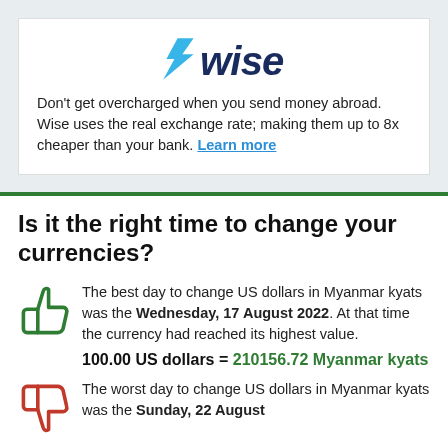[Figure (logo): Wise logo with blue lightning bolt arrow and italic 'wise' text in dark navy]
Don't get overcharged when you send money abroad. Wise uses the real exchange rate; making them up to 8x cheaper than your bank. Learn more
Is it the right time to change your currencies?
The best day to change US dollars in Myanmar kyats was the Wednesday, 17 August 2022. At that time the currency had reached its highest value.
100.00 US dollars = 210156.72 Myanmar kyats
The worst day to change US dollars in Myanmar kyats was the Sunday, 22 August